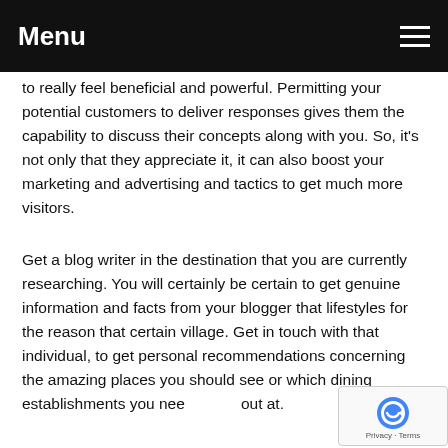Menu
to really feel beneficial and powerful. Permitting your potential customers to deliver responses gives them the capability to discuss their concepts along with you. So, it's not only that they appreciate it, it can also boost your marketing and advertising and tactics to get much more visitors.
Get a blog writer in the destination that you are currently researching. You will certainly be certain to get genuine information and facts from your blogger that lifestyles for the reason that certain village. Get in touch with that individual, to get personal recommendations concerning the amazing places you should see or which dining establishments you need to eat out at.